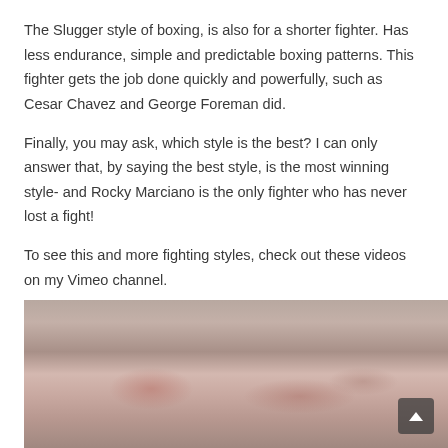The Slugger style of boxing, is also for a shorter fighter. Has less endurance, simple and predictable boxing patterns. This fighter gets the job done quickly and powerfully, such as Cesar Chavez and George Foreman did.
Finally, you may ask, which style is the best? I can only answer that, by saying the best style, is the most winning style- and Rocky Marciano is the only fighter who has never lost a fight!
To see this and more fighting styles, check out these videos on my Vimeo channel.
[Figure (photo): Blurred photo of boxing gloves or fighters, partially visible at the bottom of the page with reddish-brown tones.]